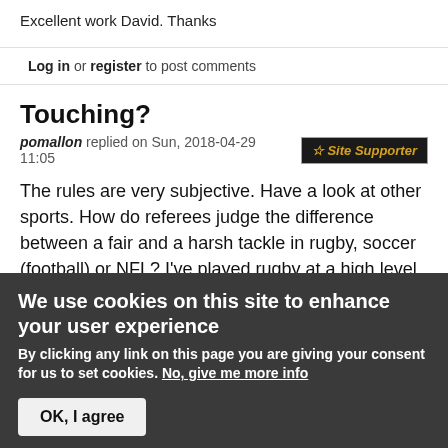Excellent work David. Thanks
Log in or register to post comments
Touching?
pomallon replied on Sun, 2018-04-29 11:05
Site Supporter
The rules are very subjective. Have a look at other sports. How do referees judge the difference between a fair and a harsh tackle in rugby, soccer (football) or NFL? I've played rugby at a high level and know the difference between a fair and a harsh tackle / contact. It's in the intent or the degree of control the oher player
We use cookies on this site to enhance your user experience
By clicking any link on this page you are giving your consent for us to set cookies. No, give me more info
OK, I agree